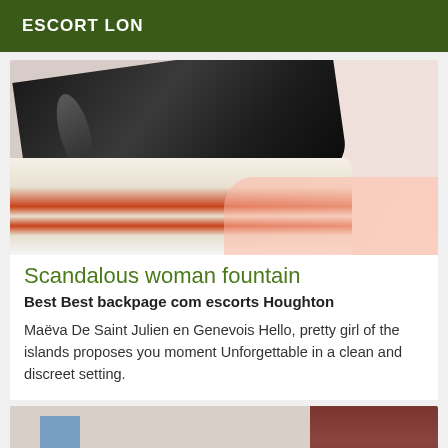ESCORT LON
[Figure (photo): Close-up photo of a black leather boot or shoe pressing down on layered colorful items, with a pink wall background]
Scandalous woman fountain
Best Best backpage com escorts Houghton
Maëva De Saint Julien en Genevois Hello, pretty girl of the islands proposes you moment Unforgettable in a clean and discreet setting.
[Figure (photo): Partial photo showing a curtain and wall interior scene]